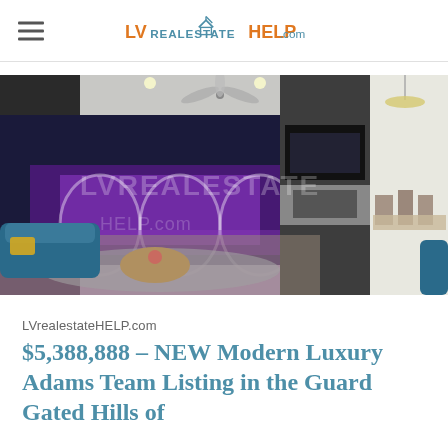LVrealestateHELP.com
[Figure (photo): Interior photo of a modern luxury home showing an open-plan living area with teal sectional sofas, a round wooden coffee table, large windows displaying a purple-lit pool/outdoor area at night, a fireplace with marble surround, ceiling fan, recessed lighting, and a dining area visible in the background.]
LVrealestateHELP.com
$5,388,888 – NEW Modern Luxury Adams Team Listing in the Guard Gated Hills of